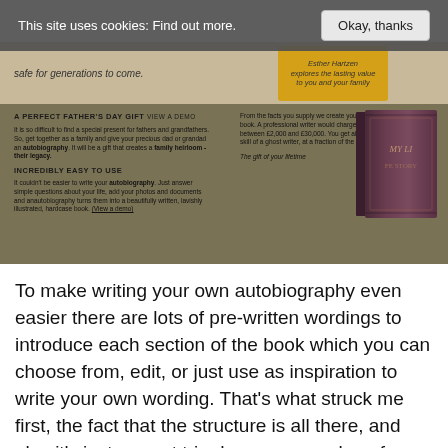This site uses cookies: Find out more.  Okay, thanks
[Figure (screenshot): Screenshot of a website advertising autobiography book service. Shows a beige top strip with text 'safe for generations to come.' and a yellow badge 'Esther Hartzen explores the lasting value to you and your family'. Main olive/tan area has sections: 'A PERFECT FATHER'S DAY GIFT VIEW A DEMO' with body text about gifting, 'INCREDIBLY EASY TO USE' with body text, right column text about ghost writing costs, and an image of a dark red/purple hardback book labeled 'MY LI...']
To make writing your own autobiography even easier there are lots of pre-written wordings to introduce each section of the book which you can choose from, edit, or just use as inspiration to write your own wording. That's what struck me first, the fact that the structure is all there, and also it's just a great trip down memory lane for me with the hard work of the overall structure taken care of.  It really couldn't be easier.
Click  here  for more details now.